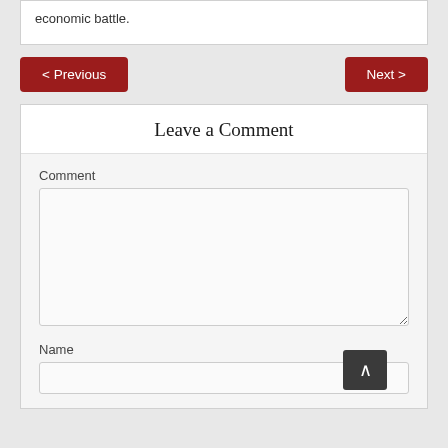economic battle.
< Previous
Next >
Leave a Comment
Comment
Name